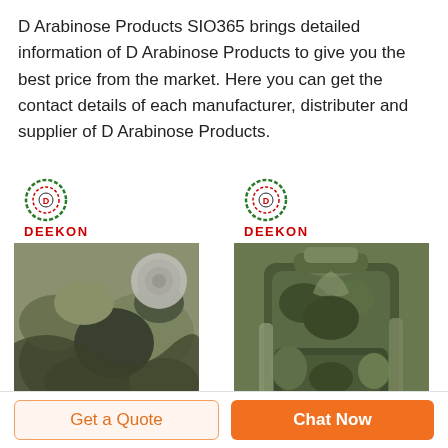D Arabinose Products SIO365 brings detailed information of D Arabinose Products to give you the best price from the market. Here you can get the contact details of each manufacturer, distributer and supplier of D Arabinose Products.
[Figure (photo): Deekon brand logo above camouflage fabric material photo with a close-up inset of the fabric texture]
[Figure (photo): Deekon brand logo above a camouflage military tactical backpack/sling bag]
Get a Quote
Chat Now